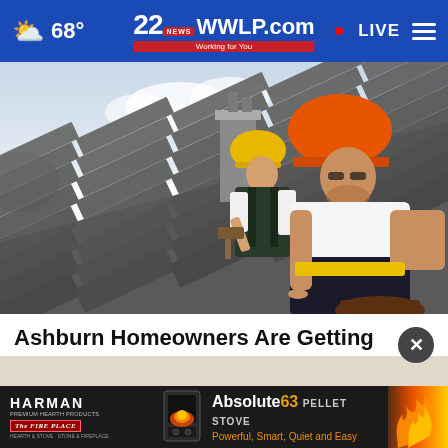22 WWLP.com News Working for You — 68° — LIVE
[Figure (photo): Two construction workers wearing hard hats (one yellow, one orange) working on installing gray roof shingles on a pitched roof. A chimney is visible in the background.]
Ashburn Homeowners Are Getting Their Roof Replaced With This Special Program
Smart Consumer Update
[Figure (advertisement): Harman Absolute63 Pellet Stove advertisement. 'HARMAN' brand name, 'The FIRE PLACE' logo, image of a pellet stove, text: Absolute63 PELLET STOVE — Powerful, Smart, Quiet and Easy, with flames visible on right side.]